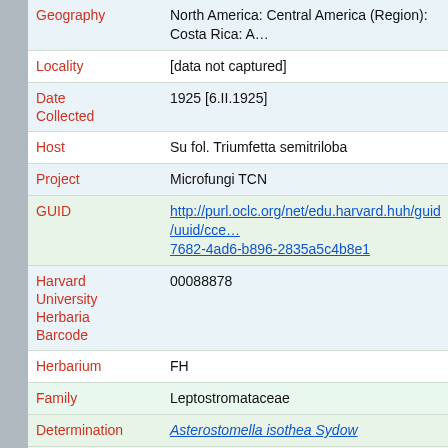| Field | Value |
| --- | --- |
| Geography | North America: Central America (Region): Costa Rica: A… |
| Locality | [data not captured] |
| Date Collected | 1925 [6.II.1925] |
| Host | Su fol. Triumfetta semitriloba |
| Project | Microfungi TCN |
| GUID | http://purl.oclc.org/net/edu.harvard.huh/guid/uuid/cce…7682-4ad6-b896-2835a5c4b8e1 |
| Harvard University Herbaria Barcode | 00088878 |
| Herbarium | FH |
| Family | Leptostromataceae |
| Determination | Asterostomella isothea Sydow |
| Determination Remarks | [is filed under name] [is Current name] |
| Family | Leptostromataceae |
| Type Status | Type |
| Type of | Asterostomella isothea Sydow |
| Determination Remarks | [0] |
| Taxonomic… | (for Asterostomella isothea Sydow) Ann. Mycol. 1927… |